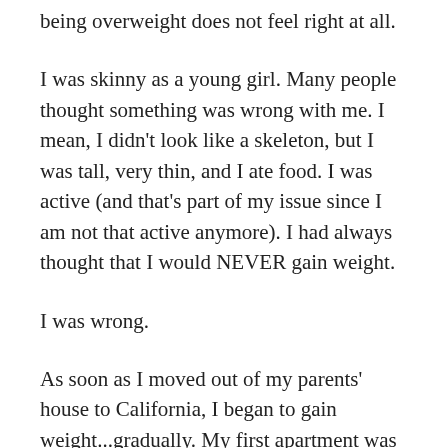being overweight does not feel right at all.
I was skinny as a young girl. Many people thought something was wrong with me. I mean, I didn't look like a skeleton, but I was tall, very thin, and I ate food. I was active (and that's part of my issue since I am not that active anymore). I had always thought that I would NEVER gain weight.
I was wrong.
As soon as I moved out of my parents' house to California, I began to gain weight...gradually. My first apartment was down the street from In N Out Burgers. I didn't cook so I ate out. I didn't work out in the traditional sense. Every weekend I was out